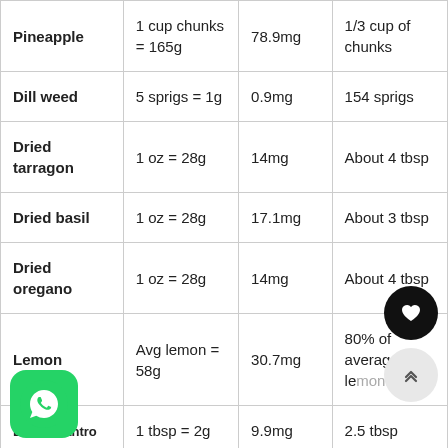| Pineapple | 1 cup chunks = 165g | 78.9mg | 1/3 cup of chunks |
| Dill weed | 5 sprigs = 1g | 0.9mg | 154 sprigs |
| Dried tarragon | 1 oz = 28g | 14mg | About 4 tbsp |
| Dried basil | 1 oz = 28g | 17.1mg | About 3 tbsp |
| Dried oregano | 1 oz = 28g | 14mg | About 4 tbsp |
| Lemon | Avg lemon = 58g | 30.7mg | 80% of average lemon |
| Dried cilantro | 1 tbsp = 2g | 9.9mg | 2.5 tbsp |